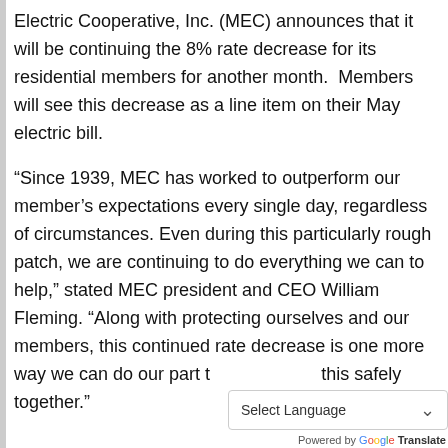Electric Cooperative, Inc. (MEC) announces that it will be continuing the 8% rate decrease for its residential members for another month.  Members will see this decrease as a line item on their May electric bill.
“Since 1939, MEC has worked to outperform our member’s expectations every single day, regardless of circumstances. Even during this particularly rough patch, we are continuing to do everything we can to help,” stated MEC president and CEO William Fleming. “Along with protecting ourselves and our members, this continued rate decrease is one more way we can do our part to get through this safely together.”